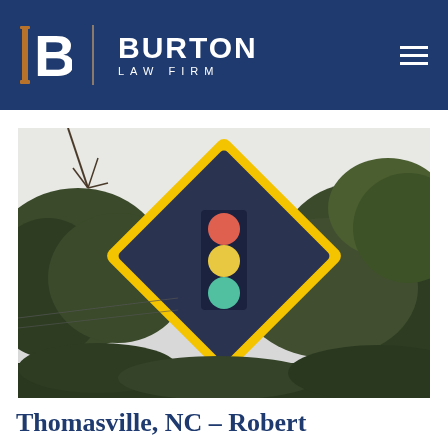BURTON LAW FIRM
[Figure (photo): A yellow diamond-shaped traffic light warning sign mounted on a pole, with trees visible in the background. The sign shows a stylized traffic light with red, yellow, and green lights on a dark background.]
Thomasville, NC – Robert